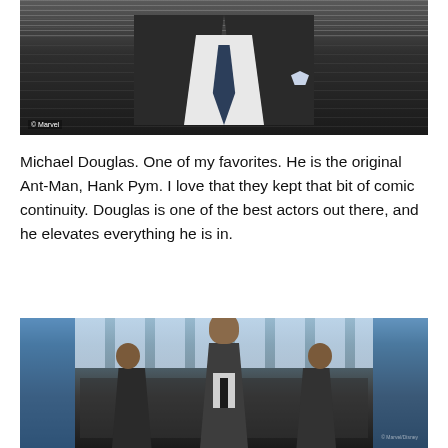[Figure (photo): Close-up photo of a man in a dark suit with a patterned tie and pocket square. Copyright Marvel watermark visible at bottom left.]
Michael Douglas. One of my favorites. He is the original Ant-Man, Hank Pym. I love that they kept that bit of comic continuity. Douglas is one of the best actors out there, and he elevates everything he is in.
[Figure (photo): Photo of several men in suits walking through what appears to be a modern building lobby with blue glass doors. A bald man leads in the center foreground.]